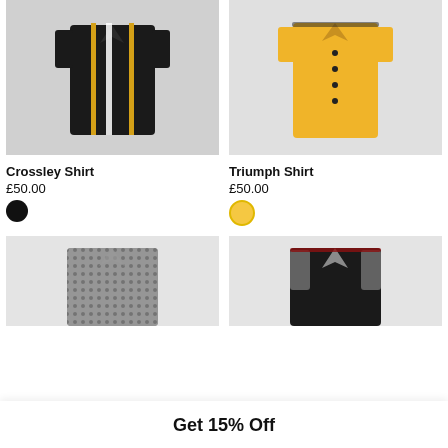[Figure (photo): Black shirt with white and yellow vertical stripes, Crossley Shirt product photo]
[Figure (photo): Yellow button-up shirt, Triumph Shirt product photo]
Crossley Shirt
£50.00
Triumph Shirt
£50.00
[Figure (photo): Black and white patterned shirt, bottom-left product photo (cropped)]
[Figure (photo): Black and white patterned shirt with dark body, bottom-right product photo (cropped)]
Get 15% Off